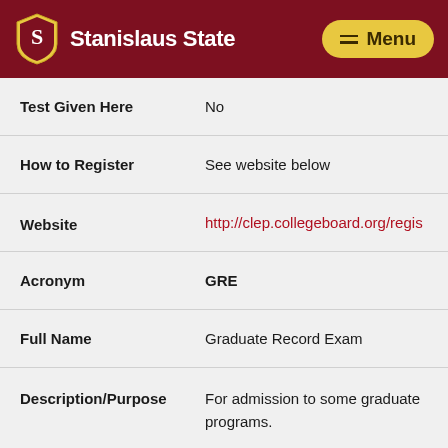Stanislaus State
| Field | Value |
| --- | --- |
| Test Given Here | No |
| How to Register | See website below |
| Website | http://clep.collegeboard.org/regis... |
| Acronym | GRE |
| Full Name | Graduate Record Exam |
| Description/Purpose | For admission to some graduate programs. |